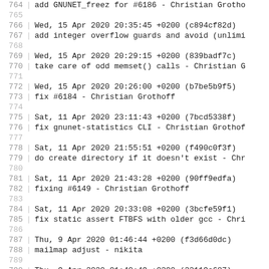764  add GNUNET_freez for #6186 - Christian Grotho
765
766  Wed, 15 Apr 2020 20:35:45 +0200 (c894cf82d)
767  add integer overflow guards and avoid (unlimi
768
769  Wed, 15 Apr 2020 20:29:15 +0200 (839badf7c)
770  take care of odd memset() calls - Christian G
771
772  Wed, 15 Apr 2020 20:26:00 +0200 (b7be5b9f5)
773  fix #6184 - Christian Grothoff
774
775  Sat, 11 Apr 2020 23:11:43 +0200 (7bcd5338f)
776  fix gnunet-statistics CLI - Christian Grothof
777
778  Sat, 11 Apr 2020 21:55:51 +0200 (f490c0f3f)
779  do create directory if it doesn't exist - Chr
780
781  Sat, 11 Apr 2020 21:43:28 +0200 (90ff9edfa)
782  fixing #6149 - Christian Grothoff
783
784  Sat, 11 Apr 2020 20:33:08 +0200 (3bcfe59f1)
785  fix static assert FTBFS with older gcc - Chri
786
787  Thu, 9 Apr 2020 01:46:44 +0200 (f3d66d0dc)
788  mailmap adjust - nikita
789
790  Thu, 9 Apr 2020 01:40:49 +0200 (22119c687)
791  fix interpreter line of gnunet-bugreport - ni
792
793  Thu, 9 Apr 2020 00:29:16 +0200 (8547143da)